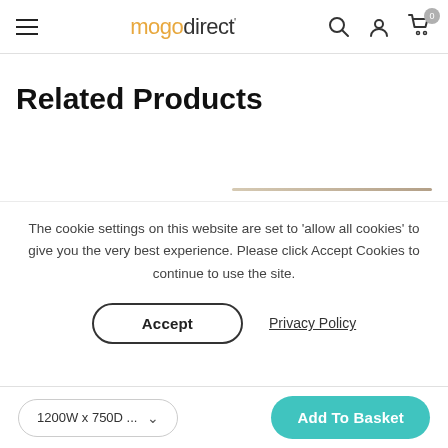mogodirect
Related Products
[Figure (illustration): Partial product image showing a thin diagonal beige/tan line element on white background]
The cookie settings on this website are set to 'allow all cookies' to give you the very best experience. Please click Accept Cookies to continue to use the site.
Accept | Privacy Policy
1200W x 750D ... | Add To Basket